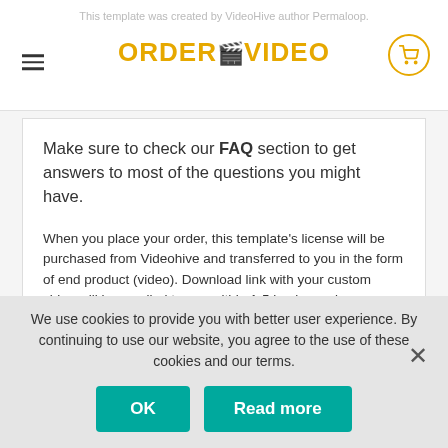This template was created by VideoHive author Permaloop.
[Figure (logo): ORDER YOUR VIDEO logo with cart icon and hamburger menu]
Make sure to check our FAQ section to get answers to most of the questions you might have.
When you place your order, this template's license will be purchased from Videohive and transferred to you in the form of end product (video). Download link with your custom video will be emailed to you within 1-5 business days (depending on orders load). Weekends and holidays are not counted towards delivery period. We also reserve the right to delay your delivery if we experience unusually high orders load.
We use cookies to provide you with better user experience. By continuing to use our website, you agree to the use of these cookies and our terms.